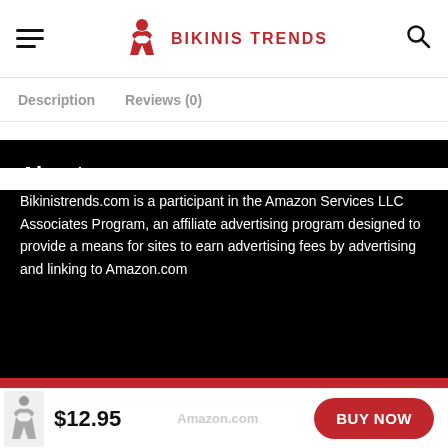BIKINIS TRENDS — header with hamburger menu, logo, and search icon
Description   Reviews (0)
About us
Bikinistrends.com is a participant in the Amazon Services LLC Associates Program, an affiliate advertising program designed to provide a means for sites to earn advertising fees by advertising and linking to Amazon.com
We use cookies on our website to give you the most relevant experience by remembering your preferences and repeat visits.
$12.95   BUY NOW